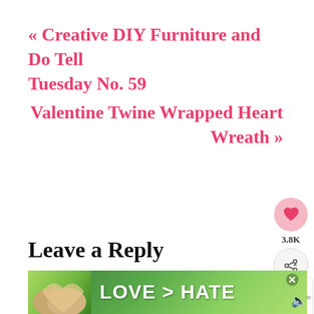« Creative DIY Furniture and Do Tell Tuesday No. 59
Valentine Twine Wrapped Heart Wreath »
Leave a Reply
Your email address will not be published. Required fields are
[Figure (other): Advertisement banner with hands forming a heart shape and text LOVE > HATE on green background]
[Figure (infographic): What's Next widget showing 20 Easy DIY Wood Projects thumbnail]